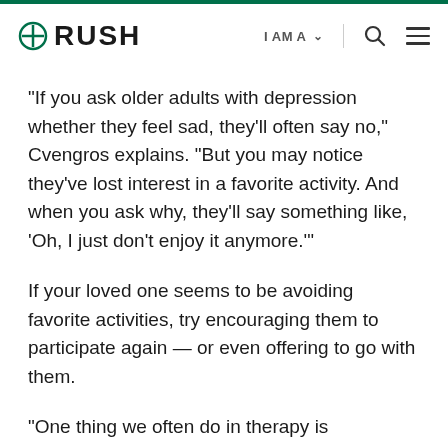RUSH | I AM A | [search] [menu]
"If you ask older adults with depression whether they feel sad, they'll often say no," Cvengros explains. "But you may notice they've lost interest in a favorite activity. And when you ask why, they'll say something like, 'Oh, I just don't enjoy it anymore.'"
If your loved one seems to be avoiding favorite activities, try encouraging them to participate again — or even offering to go with them.
"One thing we often do in therapy is encourage people to engage in things they used to like,